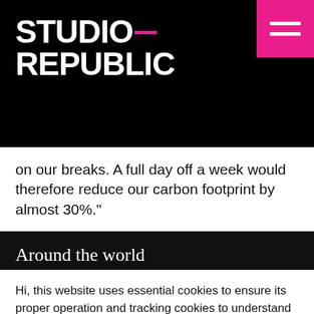[Figure (logo): Studio Republic logo in white bold text on black background with pink underscore, and pink hamburger menu button top right]
on our breaks. A full day off a week would therefore reduce our carbon footprint by almost 30%."
Around the world
Hi, this website uses essential cookies to ensure its proper operation and tracking cookies to understand how you interact with it. The latter will be set only after consent. Let me choose
Accept all
Reject all